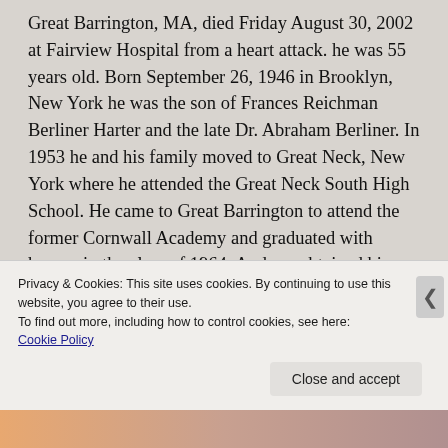Great Barrington, MA, died Friday August 30, 2002 at Fairview Hospital from a heart attack. he was 55 years old. Born September 26, 1946 in Brooklyn, New York he was the son of Frances Reichman Berliner Harter and the late Dr. Abraham Berliner. In 1953 he and his family moved to Great Neck, New York where he attended the Great Neck South High School. He came to Great Barrington to attend the former Cornwall Academy and graduated with honors in the class of 1964. Andrew obtained his pilot's license from the Berkshire Aviation Enterprises under the direction of Walter Koladza. He
Privacy & Cookies: This site uses cookies. By continuing to use this website, you agree to their use.
To find out more, including how to control cookies, see here:
Cookie Policy
Close and accept